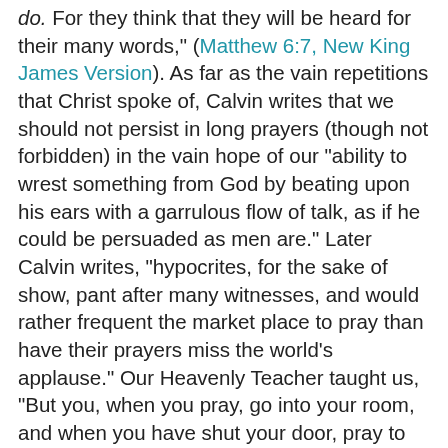do. For they think that they will be heard for their many words," (Matthew 6:7, New King James Version). As far as the vain repetitions that Christ spoke of, Calvin writes that we should not persist in long prayers (though not forbidden) in the vain hope of our "ability to wrest something from God by beating upon his ears with a garrulous flow of talk, as if he could be persuaded as men are." Later Calvin writes, "hypocrites, for the sake of show, pant after many witnesses, and would rather frequent the market place to pray than have their prayers miss the world's applause." Our Heavenly Teacher taught us, "But you, when you pray, go into your room, and when you have shut your door, pray to your Father who is in the secret place; and your Father who sees in secret will reward you openly," (Matthew 6:6, New King James Version). True prayer comes from the heart and it is easiest to pray when we are in a tranquil place. Christ showed us an example by often withdrawing to quiet places in order to pray. He prayed also in crowds if needed, but not to draw attention to himself like the hypocrites and Pharisees. The temple was often referred to as a "house of prayer." God meant for us to understand that, "the chief part of his worship lies in the office of prayer, and that the temple